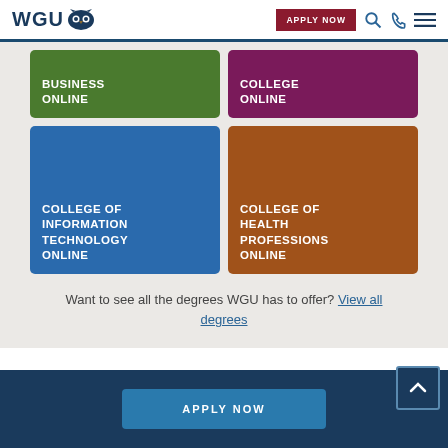WGU
[Figure (screenshot): WGU website navigation with logo, APPLY NOW button, search icon, phone icon, and hamburger menu]
BUSINESS ONLINE
COLLEGE ONLINE
COLLEGE OF INFORMATION TECHNOLOGY ONLINE
COLLEGE OF HEALTH PROFESSIONS ONLINE
Want to see all the degrees WGU has to offer? View all degrees
APPLY NOW